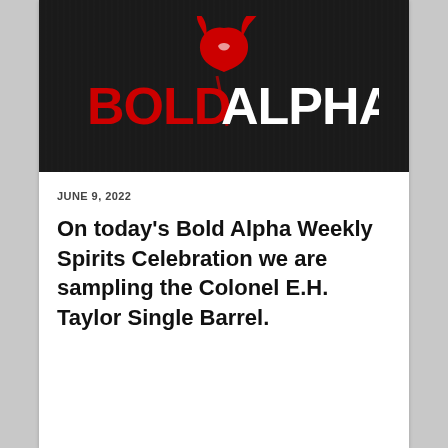[Figure (logo): Bold Alpha logo — text 'BOLD' in bold red letters and 'ALPHA' in bold white letters on a dark brushed-metal background, with a stylized red wolf/fox head above]
JUNE 9, 2022
On today's Bold Alpha Weekly Spirits Celebration we are sampling the Colonel E.H. Taylor Single Barrel.